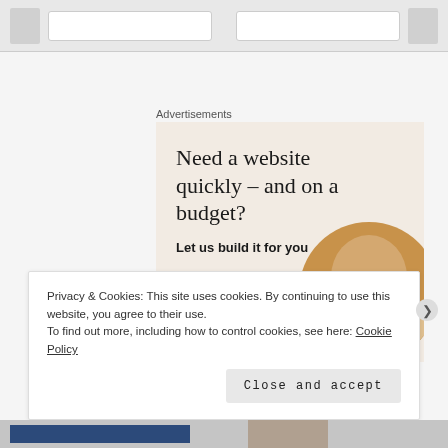[Figure (screenshot): Browser chrome top bar with address bars]
Advertisements
[Figure (illustration): Advertisement banner with beige background. Headline: 'Need a website quickly – and on a budget?' Subtext: 'Let us build it for you'. Button: 'Let's get started'. Circular photo of person's hands on laptop.]
Privacy & Cookies: This site uses cookies. By continuing to use this website, you agree to their use.
To find out more, including how to control cookies, see here: Cookie Policy
Close and accept